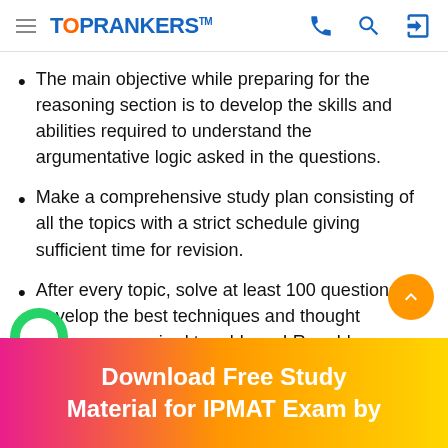TOPRANKERS
The main objective while preparing for the reasoning section is to develop the skills and abilities required to understand the argumentative logic asked in the questions.
Make a comprehensive study plan consisting of all the topics with a strict schedule giving sufficient time for revision.
After every topic, solve at least 100 questions to develop the best techniques and thought processes required to address LR problems.
Download Free Study Material for IPMAT Exam by